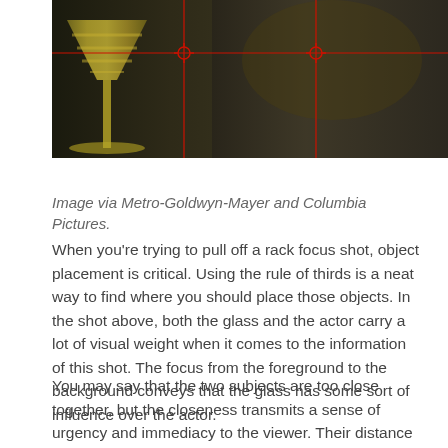[Figure (photo): A cinematic still showing a martini glass in the foreground (in focus) and a person/actor blurred in the background, with red rule-of-thirds grid lines overlaid on the image.]
Image via Metro-Goldwyn-Mayer and Columbia Pictures.
When you’re trying to pull off a rack focus shot, object placement is critical. Using the rule of thirds is a neat way to find where you should place those objects. In the shot above, both the glass and the actor carry a lot of visual weight when it comes to the information of this shot. The focus from the foreground to the background conveys that the glass has some sort of influence over the actor.
You may say that the two subjects are too close together, but the closeness transmits a sense of urgency and immediacy to the viewer. Their distance is the perfect balance. Any farther would have